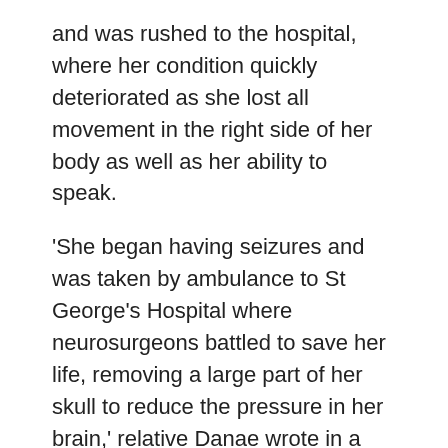and was rushed to the hospital, where her condition quickly deteriorated as she lost all movement in the right side of her body as well as her ability to speak.
'She began having seizures and was taken by ambulance to St George's Hospital where neurosurgeons battled to save her life, removing a large part of her skull to reduce the pressure in her brain,' relative Danae wrote in a GoFundMe page.
The performer was taken to the intensive care unit and diagnosed with Vaccine-induced Thrombocytopenic Thrombosis, a rare side effect associated with the AstraZeneca jab.
Melle Stewart spent three weeks on a ventilator in